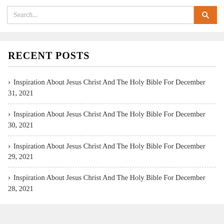Search...
RECENT POSTS
Inspiration About Jesus Christ And The Holy Bible For December 31, 2021
Inspiration About Jesus Christ And The Holy Bible For December 30, 2021
Inspiration About Jesus Christ And The Holy Bible For December 29, 2021
Inspiration About Jesus Christ And The Holy Bible For December 28, 2021